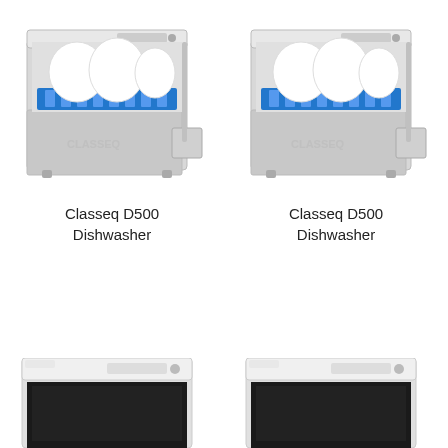[Figure (photo): Classeq D500 Dishwasher - front-left view with door open showing blue basket and white plates inside, stainless steel body]
Classeq D500
Dishwasher
[Figure (photo): Classeq D500 Dishwasher - front-right view with door open showing blue basket and white plates inside, stainless steel body]
Classeq D500
Dishwasher
[Figure (photo): Partially visible dishwasher unit at bottom-left of page, white/grey body, top view cropped]
[Figure (photo): Partially visible dishwasher unit at bottom-right of page, white/grey body, top view cropped]